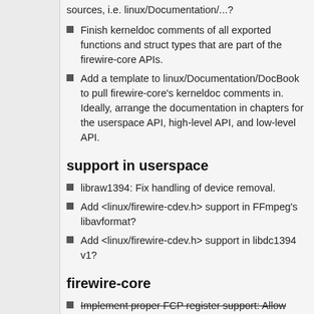sources, i.e. linux/Documentation/...?
Finish kerneldoc comments of all exported functions and struct types that are part of the firewire-core APIs.
Add a template to linux/Documentation/DocBook to pull firewire-core's kerneldoc comments in. Ideally, arrange the documentation in chapters for the userspace API, high-level API, and low-level API.
support in userspace
libraw1394: Fix handling of device removal.
Add <linux/firewire-cdev.h> support in FFmpeg's libavformat?
Add <linux/firewire-cdev.h> support in libdc1394 v1?
firewire-core
Implement proper FCP register support: Allow multiple clients to register for listening to FCP_COMMAND and FCP_RESPONSE. Multiplex incoming FCP frames to all listeners. This is required to...